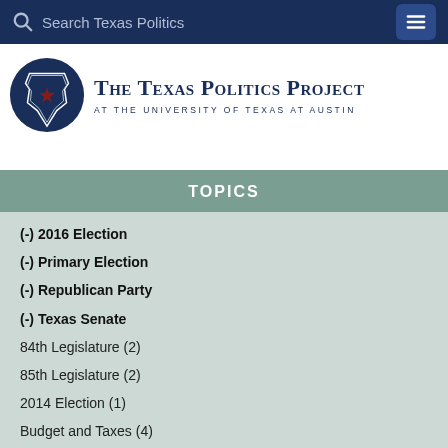Search Texas Politics
[Figure (logo): The Texas Politics Project at the University of Texas at Austin logo with circular Texas state outline and red star]
TOPICS
(-) 2016 Election
(-) Primary Election
(-) Republican Party
(-) Texas Senate
84th Legislature (2)
85th Legislature (2)
2014 Election (1)
Budget and Taxes (4)
Comptroller (4)
Concealed Carry (2)